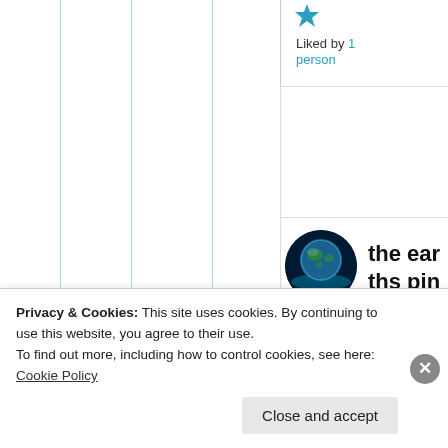[Figure (illustration): Blue star/favorite icon]
Liked by 1 person
[Figure (photo): Circular avatar showing Earth globe with teal/blue glow against dark background]
the earths pins
Septem ber
Privacy & Cookies: This site uses cookies. By continuing to use this website, you agree to their use.
To find out more, including how to control cookies, see here: Cookie Policy
Close and accept